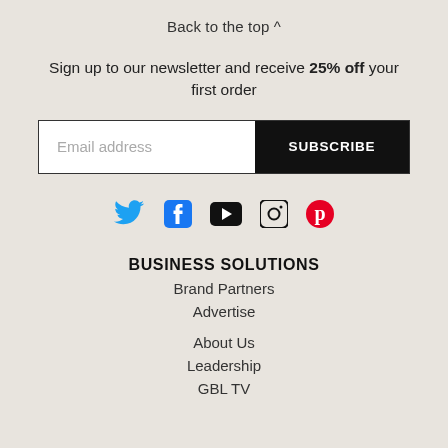Back to the top ^
Sign up to our newsletter and receive 25% off your first order
[Figure (other): Email address input field with SUBSCRIBE button]
[Figure (other): Social media icons: Twitter (blue bird), Facebook (blue f), YouTube (black play button), Instagram (black camera), Pinterest (red P)]
BUSINESS SOLUTIONS
Brand Partners
Advertise
About Us
Leadership
GBL TV